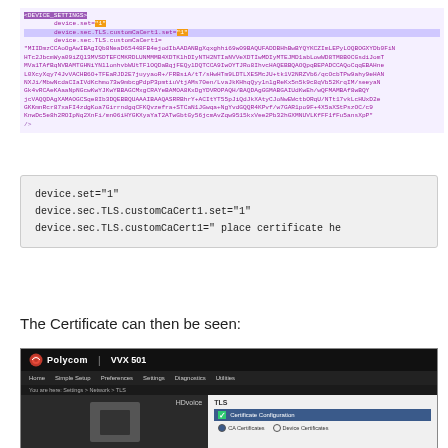[Figure (screenshot): Code editor screenshot showing XML configuration with highlighted lines for DEVICE_SETTINGS block including device.set, device.sec.TLS.customCaCert1.set, and a long base64 certificate string, with purple, yellow, and blue highlights.]
[Figure (screenshot): White box with monospace text showing three configuration lines: device.set="1", device.sec.TLS.customCaCert1.set="1", device.sec.TLS.customCaCert1=" place certificate he]
The Certificate can then be seen:
[Figure (screenshot): Polycom VVX 501 web interface screenshot showing the TLS settings page under Settings > Network > TLS, with Certificate Configuration section showing CA Certificates and Device Certificates radio buttons.]